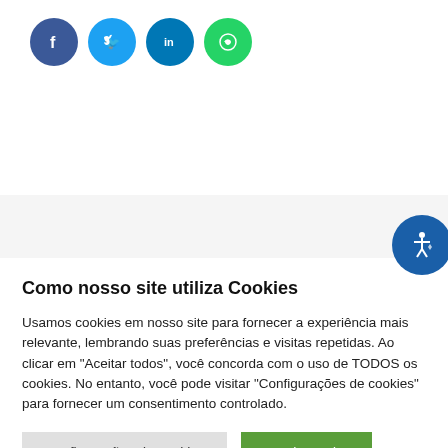[Figure (illustration): Social media share buttons: Facebook (dark blue circle with f), Twitter (light blue circle with bird), LinkedIn (blue circle with 'in'), WhatsApp (green circle with phone logo)]
[Figure (illustration): Accessibility button - dark blue circle with hand/accessibility icon, positioned on the right side]
Como nosso site utiliza Cookies
Usamos cookies em nosso site para fornecer a experiência mais relevante, lembrando suas preferências e visitas repetidas. Ao clicar em "Aceitar todos", você concorda com o uso de TODOS os cookies. No entanto, você pode visitar "Configurações de cookies" para fornecer um consentimento controlado.
Configurações de cookies | Aceitar tudo